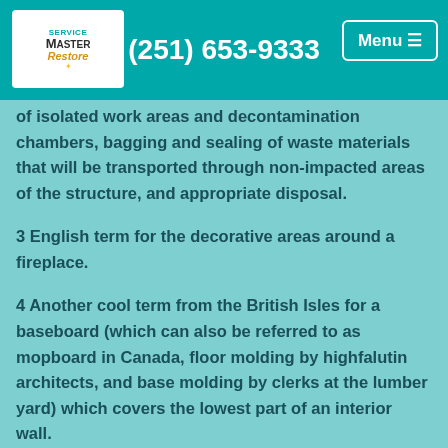(251) 653-9333
of isolated work areas and decontamination chambers, bagging and sealing of waste materials that will be transported through non-impacted areas of the structure, and appropriate disposal.
3 English term for the decorative areas around a fireplace.
4 Another cool term from the British Isles for a baseboard (which can also be referred to as mopboard in Canada, floor molding by highfalutin architects, and base molding by clerks at the lumber yard) which covers the lowest part of an interior wall.
5 You would think that as inventors of the mother tongue of our native language the residents of Great Britain would call it cove